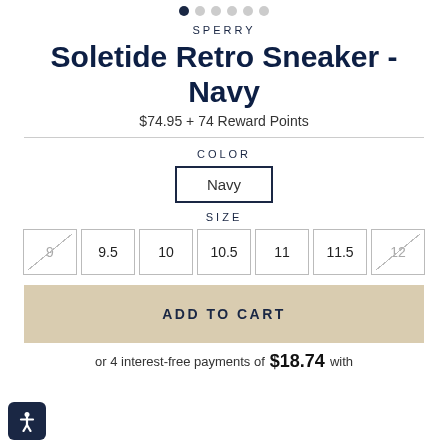[Figure (other): Navigation dots row — one filled navy dot and five grey dots indicating image carousel position]
SPERRY
Soletide Retro Sneaker - Navy
$74.95 + 74 Reward Points
COLOR
Navy
SIZE
9  9.5  10  10.5  11  11.5  12
ADD TO CART
or 4 interest-free payments of $18.74 with